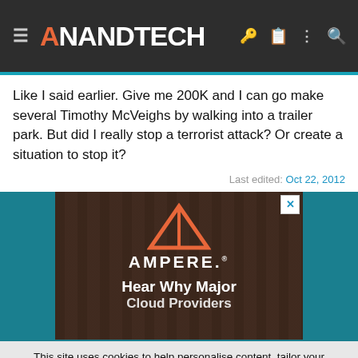AnandTech
Like I said earlier. Give me 200K and I can go make several Timothy McVeighs by walking into a trailer park. But did I really stop a terrorist attack? Or create a situation to stop it?
Last edited: Oct 22, 2012
[Figure (screenshot): Ampere advertisement banner with red triangle logo, brand name AMPERE., and tagline 'Hear Why Major']
This site uses cookies to help personalise content, tailor your experience and to keep you logged in if you register. By continuing to use this site, you are consenting to our use of cookies.